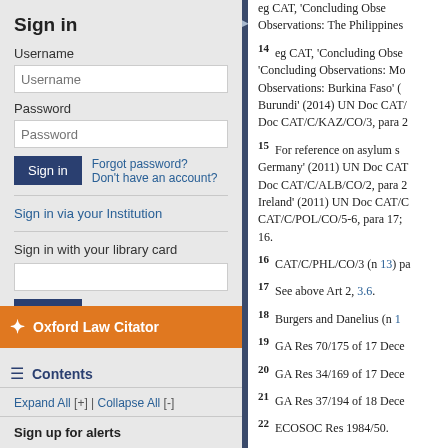Sign in
Username
Password
Forgot password?
Don't have an account?
Sign in via your Institution
Sign in with your library card
Oxford Law Citator
Contents
Expand All [+] | Collapse All [-]
Sign up for alerts
eg CAT, 'Concluding Observations: The Philippines'
14  eg CAT, 'Concluding Observations: Morocco'; 'Concluding Observations: Morocco'; 'Concluding Observations: Burkina Faso' (...); 'Concluding Observations: Burundi' (2014) UN Doc CAT/... Doc CAT/C/KAZ/CO/3, para 2
15  For reference on asylum seekers: Germany' (2011) UN Doc CAT/... Doc CAT/C/ALB/CO/2, para 2; Ireland' (2011) UN Doc CAT/C... CAT/C/POL/CO/5-6, para 17; 16.
16  CAT/C/PHL/CO/3 (n 13) pa
17  See above Art 2, 3.6.
18  Burgers and Danelius (n 1
19  GA Res 70/175 of 17 Dece
20  GA Res 34/169 of 17 Dece
21  GA Res 37/194 of 18 Dece
22  ECOSOC Res 1984/50.